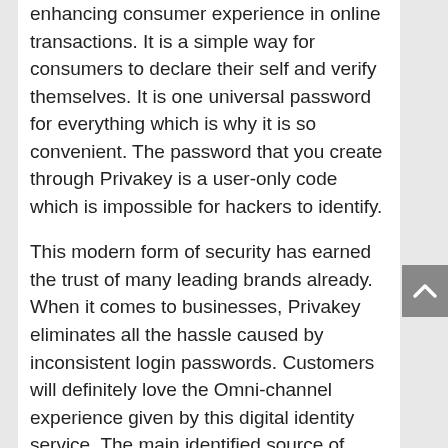enhancing consumer experience in online transactions. It is a simple way for consumers to declare their self and verify themselves. It is one universal password for everything which is why it is so convenient. The password that you create through Privakey is a user-only code which is impossible for hackers to identify.
This modern form of security has earned the trust of many leading brands already. When it comes to businesses, Privakey eliminates all the hassle caused by inconsistent login passwords. Customers will definitely love the Omni-channel experience given by this digital identity service. The main identified source of breaching in the online world today is passwords. But, Privakey has secured the entrance of many e-commerce sites very efficiently today.
WHAT'S WRONG WITH PASSWORDS?